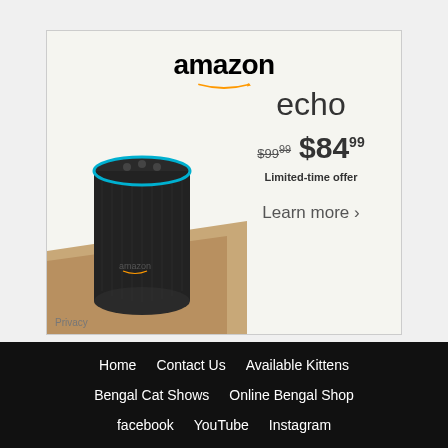[Figure (advertisement): Amazon Echo advertisement showing the Echo speaker device (black cylindrical smart speaker with blue ring) on a wooden surface. Shows Amazon logo at top, product name 'echo', original price $99.99, sale price $84.99, 'Limited-time offer' text, and 'Learn more ›' link. 'Privacy' label in bottom left corner.]
Home
Contact Us
Available Kittens
Bengal Cat Shows
Online Bengal Shop
facebook
YouTube
Instagram